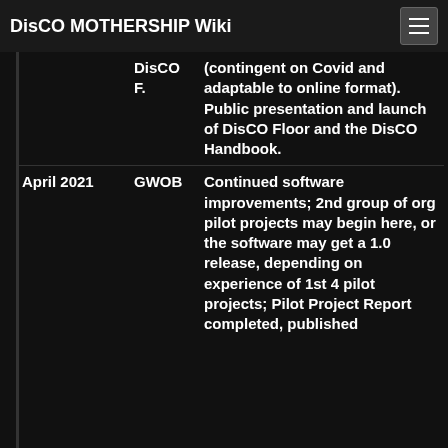DisCO MOTHERSHIP Wiki
| Date | Label | Description |
| --- | --- | --- |
|  | DisCO F. | (contingent on Covid and adaptable to online format). Public presentation and launch of DisCO Floor and the DisCO Handbook. |
| April 2021 | GWOB | Continued software improvements; 2nd group of org pilot projects may begin here, or the software may get a 1.0 release, depending on experience of 1st 4 pilot projects; Pilot Project Report completed, published |